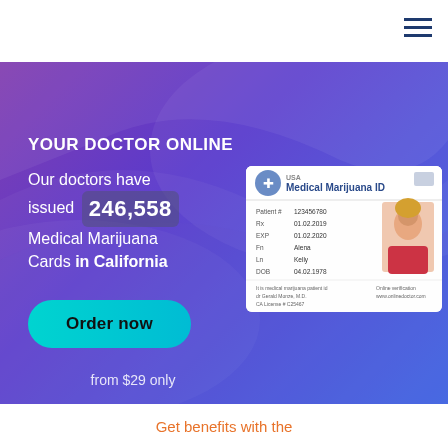[Figure (screenshot): Navigation bar with hamburger menu icon (three horizontal dark blue lines) in top right corner on white background]
[Figure (infographic): Hero banner with purple-to-blue gradient background with decorative wave shapes. Contains headline, statistics text, medical marijuana ID card image, order button, and pricing text.]
YOUR DOCTOR ONLINE
Our doctors have issued 246,558 Medical Marijuana Cards in California
[Figure (photo): USA Medical Marijuana ID card with cannabis leaf logo, patient details (Patient #: 123456780, Rx: 01.02.2019, EXP: 01.02.2020, Fn: Alena, Ln: Kelly, DOB: 04.02.1978), and photo of smiling blonde woman in red top. Shows doctor signature and license info at bottom.]
Order now
from $29 only
Get benefits with the